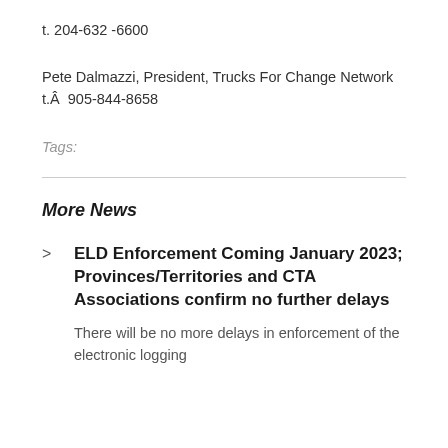t. 204-632 -6600
Pete Dalmazzi, President, Trucks For Change Network
t.Â  905-844-8658
Tags:
More News
ELD Enforcement Coming January 2023; Provinces/Territories and CTA Associations confirm no further delays
There will be no more delays in enforcement of the electronic logging